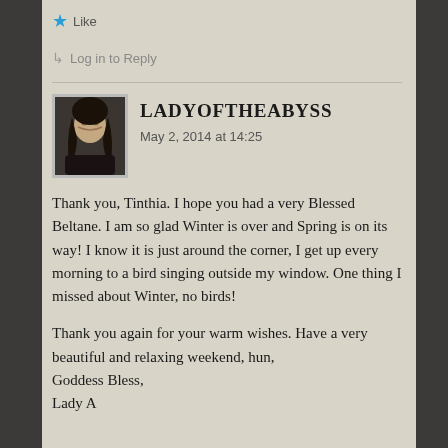★ Like
↳ Log in to Reply
[Figure (photo): Avatar photo of woman with dark curly hair]
LADYOFTHEABYSS
May 2, 2014 at 14:25
Thank you, Tinthia. I hope you had a very Blessed Beltane. I am so glad Winter is over and Spring is on its way! I know it is just around the corner, I get up every morning to a bird singing outside my window. One thing I missed about Winter, no birds!
Thank you again for your warm wishes. Have a very beautiful and relaxing weekend, hun,
Goddess Bless,
Lady A